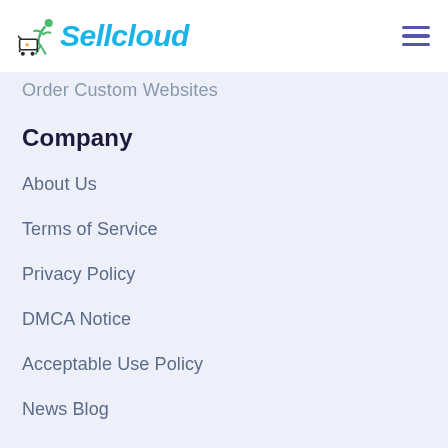Sellcloud
Order Custom Websites
Company
About Us
Terms of Service
Privacy Policy
DMCA Notice
Acceptable Use Policy
News Blog